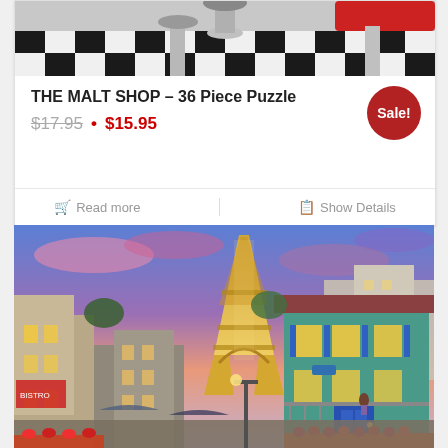[Figure (photo): Top portion of a malt shop diner photo showing checkered black and white floor, chrome bar stools, and a red vinyl seat]
THE MALT SHOP – 36 Piece Puzzle
$17.95 • $15.95 (sale price, original crossed out)
Read more | Show Details
[Figure (photo): Illustrated painting of a Paris street scene with the Eiffel Tower glowing at dusk, colorful buildings including a teal house with blue shutters, flower boxes, balconies, and warm street lighting]